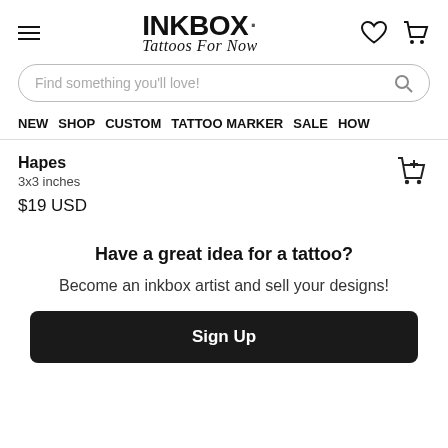INKBOX · Tattoos For Now
Find something you'll love!
NEW   SHOP   CUSTOM   TATTOO MARKER   SALE   HOW
Hapes
3x3 inches
$19 USD
Have a great idea for a tattoo?
Become an inkbox artist and sell your designs!
Sign Up